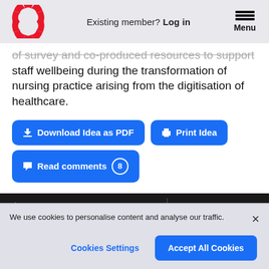Existing member? Log in | Menu
of survey and co-produced resources to support staff wellbeing during the transformation of nursing practice arising from the digitisation of healthcare.
Download Idea as PDF | Print Idea | Read comments 8
★ Shortlisted idea | 2022
We use cookies to personalise content and analyse our traffic.
Cookies Settings | Accept All Cookies